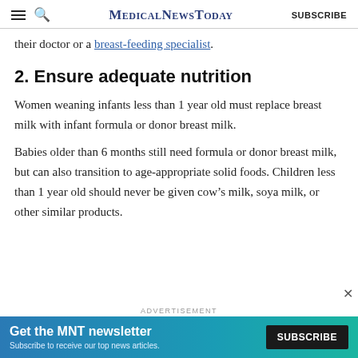MedicalNewsToday | SUBSCRIBE
their doctor or a breast-feeding specialist.
2. Ensure adequate nutrition
Women weaning infants less than 1 year old must replace breast milk with infant formula or donor breast milk.
Babies older than 6 months still need formula or donor breast milk, but can also transition to age-appropriate solid foods. Children less than 1 year old should never be given cow’s milk, soya milk, or other similar products.
[Figure (other): Advertisement banner: Get the MNT newsletter. Subscribe to receive our top news articles. SUBSCRIBE button. Blue/teal gradient background.]